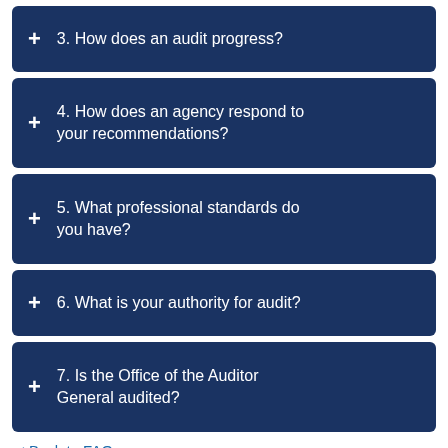+ 3. How does an audit progress?
+ 4. How does an agency respond to your recommendations?
+ 5. What professional standards do you have?
+ 6. What is your authority for audit?
+ 7. Is the Office of the Auditor General audited?
< Back to FAQ page